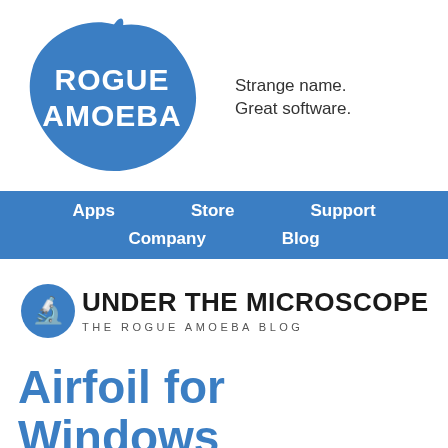[Figure (logo): Rogue Amoeba logo — blue star-burst/amoeba shape with white bold text ROGUE AMOEBA]
Strange name.
Great software.
Apps   Store   Support   Company   Blog
[Figure (logo): Under The Microscope — The Rogue Amoeba Blog logo with microscope icon]
Airfoil for Windows Now Plays Great With iOS and iTunes